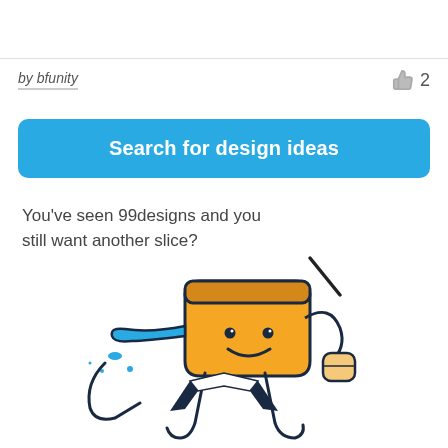by bfunity
👍 2
Search for design ideas
You've seen 99designs and you still want another slice?
[Figure (illustration): Cartoon mascot character shaped like a pizza slice with a cheerful face, arms, and legs, wearing a suit, with blue dripping from its nose. A diagonal line/stick is shown above it.]